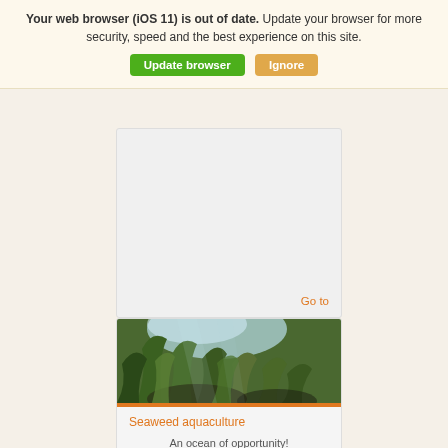Your web browser (iOS 11) is out of date. Update your browser for more security, speed and the best experience on this site.
[Figure (screenshot): Browser update notification banner with 'Update browser' green button and 'Ignore' orange button]
[Figure (photo): Partially visible gray card with 'Go to' orange link text in bottom right corner]
[Figure (photo): Underwater seaweed photograph showing kelp and aquatic plants with light filtering through water from above]
Seaweed aquaculture
An ocean of opportunity!